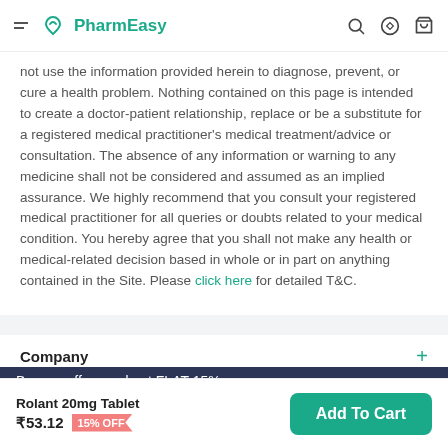PharmEasy
not use the information provided herein to diagnose, prevent, or cure a health problem. Nothing contained on this page is intended to create a doctor-patient relationship, replace or be a substitute for a registered medical practitioner's medical treatment/advice or consultation. The absence of any information or warning to any medicine shall not be considered and assumed as an implied assurance. We highly recommend that you consult your registered medical practitioner for all queries or doubts related to your medical condition. You hereby agree that you shall not make any health or medical-related decision based in whole or in part on anything contained in the Site. Please click here for detailed T&C.
Company
Our Services
Browse offers and get FLAT 15% OFF
Rolant 20mg Tablet ₹53.12 15% OFF Add To Cart